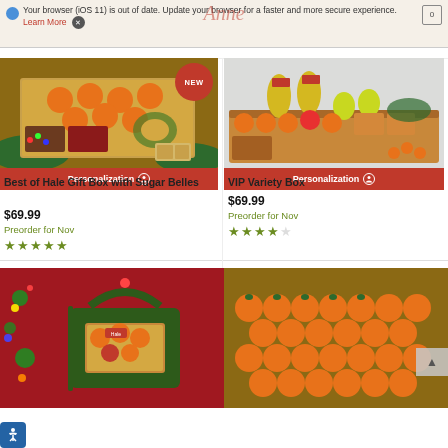Your browser (iOS 11) is out of date. Update your browser for a faster and more secure experience. Learn More [X]
[Figure (photo): Best of Hale Gift Box with Sugar Belles - overhead photo of fruit gift box with oranges, nuts, candy, with NEW badge overlay and Personalization bar]
Best of Hale Gift Box with Sugar Belles
$69.99
Preorder for Nov
★★★★★
[Figure (photo): VIP Variety Box - photo of large fruit variety gift box with oranges, pears, pineapples and other fruits, with Personalization bar]
VIP Variety Box
$69.99
Preorder for Nov
★★★★½
[Figure (photo): Partial view of holiday fruit gift basket with Christmas tree in background - bottom of page]
[Figure (photo): Partial view of Sugar Belles tangerines arranged in rows - bottom of page]